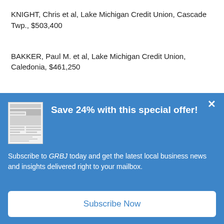KNIGHT, Chris et al, Lake Michigan Credit Union, Cascade Twp., $503,400
BAKKER, Paul M. et al, Lake Michigan Credit Union, Caledonia, $461,250
[Figure (other): Subscription modal overlay with newspaper thumbnail image, headline 'Save 24% with this special offer!', body text 'Subscribe to GRBJ today and get the latest local business news and insights delivered right to your mailbox.', and a 'Subscribe Now' button. Blue background with close X button.]